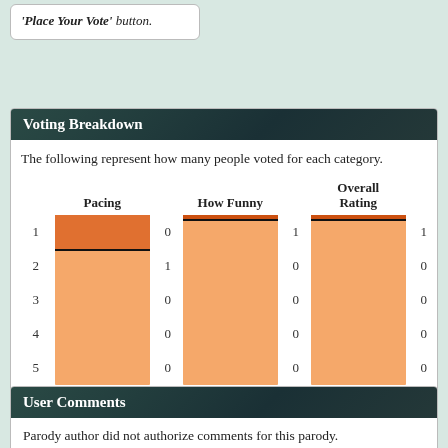'Place Your Vote' button.
Voting Breakdown
The following represent how many people voted for each category.
[Figure (bar-chart): Voting Breakdown]
User Comments
Parody author did not authorize comments for this parody.